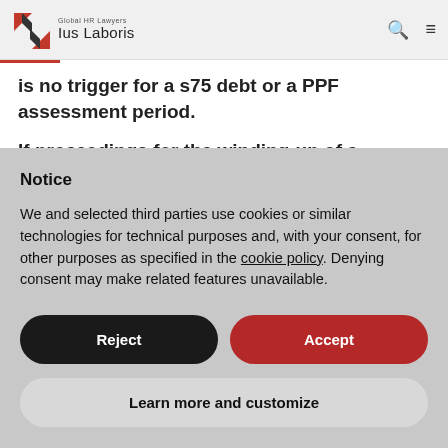Global HR Lawyers Ius Laboris
is no trigger for a s75 debt or a PPF assessment period.
If proceedings for the winding-up of a company
Notice
We and selected third parties use cookies or similar technologies for technical purposes and, with your consent, for other purposes as specified in the cookie policy. Denying consent may make related features unavailable.
Reject
Accept
Learn more and customize